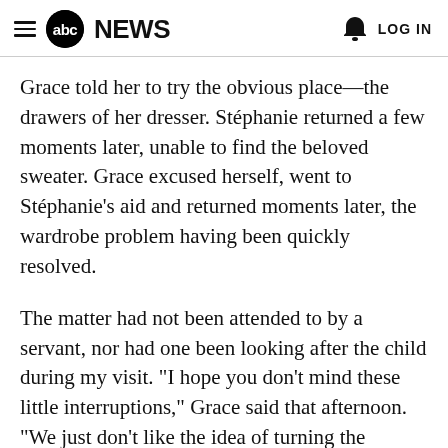abc NEWS  LOG IN
Grace told her to try the obvious place—the drawers of her dresser. Stéphanie returned a few moments later, unable to find the beloved sweater. Grace excused herself, went to Stéphanie's aid and returned moments later, the wardrobe problem having been quickly resolved.
The matter had not been attended to by a servant, nor had one been looking after the child during my visit. "I hope you don't mind these little interruptions," Grace said that afternoon. "We just don't like the idea of turning the children over to nannies and